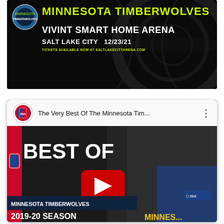[Figure (photo): Minnesota Timberwolves event banner on black background with basketball texture. Shows team logo, 'MINNESOTA TIMBERWOLVES' in yellow text, 'VIVINT SMART HOME ARENA' in white text, 'SALT LAKE CITY 12/23/21' and tickets URL in smaller text.]
[Figure (screenshot): YouTube video card showing 'The Very Best Of The Minnesota Tim...' with NBA logo icon, three-dot menu. Thumbnail shows 'BEST OF' text, YouTube play button, Minnesota Timberwolves player in blue jersey, 'MINNESOTA TIMBERWOLVES' banner, '2019-20 SEASON' text, NBA logo, Fitbit badge.]